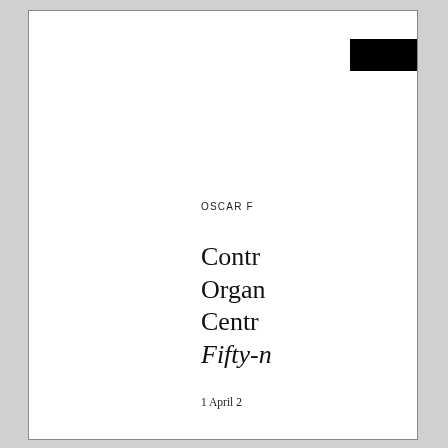[Figure (other): Black redaction bar in upper right corner of document page]
OSCAR F
Contr
Organ
Centr
Fifty-n
1 April 2